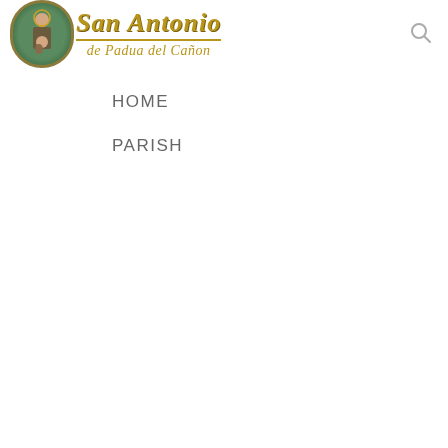[Figure (logo): San Antonio de Padua del Cañon parish logo with oval image of saint and decorative gold text]
HOME
PARISH